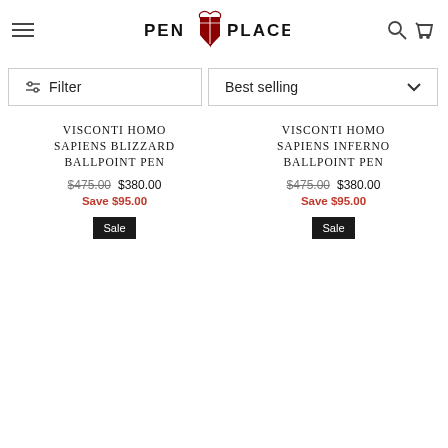[Figure (logo): Pen Place logo with shield and text]
Filter
Best selling
VISCONTI HOMO SAPIENS BLIZZARD BALLPOINT PEN
$475.00  $380.00  Save $95.00
VISCONTI HOMO SAPIENS INFERNO BALLPOINT PEN
$475.00  $380.00  Save $95.00